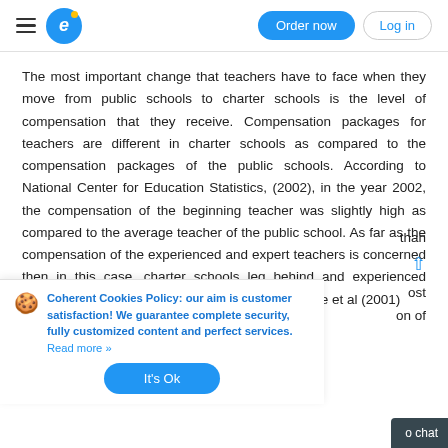Order now | Log in
The most important change that teachers have to face when they move from public schools to charter schools is the level of compensation that they receive. Compensation packages for teachers are different in charter schools as compared to the compensation packages of the public schools. According to National Center for Education Statistics, (2002), in the year 2002, the compensation of the beginning teacher was slightly high as compared to the average teacher of the public school. As far as the compensation of the experienced and expert teachers is concerned then in this case, charter schools leg behind and experienced teachers can earn more in public schools. Murnane et al (2001)
than most on of
Coherent Cookies Policy: our aim is customer satisfaction! We guarantee complete security, fully customized content and perfect services. Read more »